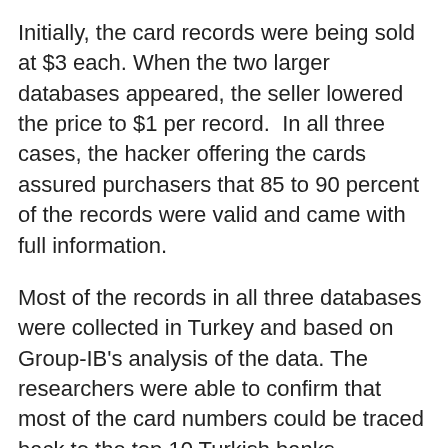Initially, the card records were being sold at $3 each. When the two larger databases appeared, the seller lowered the price to $1 per record.  In all three cases, the hacker offering the cards assured purchasers that 85 to 90 percent of the records were valid and came with full information.
Most of the records in all three databases were collected in Turkey and based on Group-IB's analysis of the data. The researchers were able to confirm that most of the card numbers could be traced back to the top 10 Turkish banks.
In light of this, if you're living or doing business in Turkey, or have a payment card issued by one of the big Turkish banks, it pays to take steps to protect yourself.